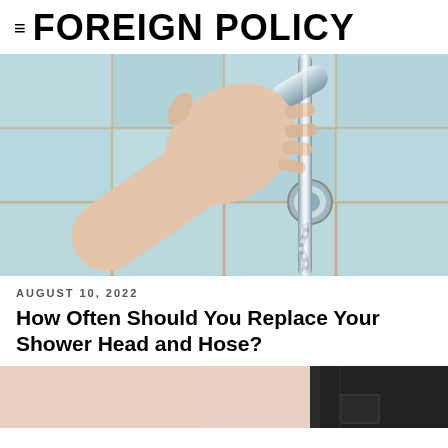≡ FOREIGN POLICY
[Figure (photo): A hand gripping a chrome shower head on a sliding rail mounted on light blue ceramic tiles. The shower hose is visible below.]
AUGUST 10, 2022
How Often Should You Replace Your Shower Head and Hose?
[Figure (photo): Bottom portion of a second article image showing what appears to be a room interior with a door and a small green illuminated panel.]